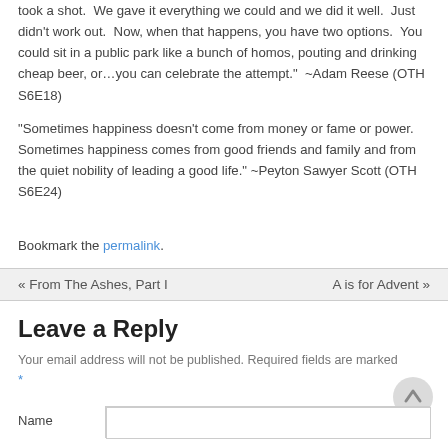took a shot.  We gave it everything we could and we did it well.  Just didn't work out.  Now, when that happens, you have two options.  You could sit in a public park like a bunch of homos, pouting and drinking cheap beer, or…you can celebrate the attempt."  ~Adam Reese (OTH S6E18)
“Sometimes happiness doesn’t come from money or fame or power.  Sometimes happiness comes from good friends and family and from the quiet nobility of leading a good life.” ~Peyton Sawyer Scott (OTH S6E24)
Bookmark the permalink.
« From The Ashes, Part I    A is for Advent »
Leave a Reply
Your email address will not be published. Required fields are marked *
Name